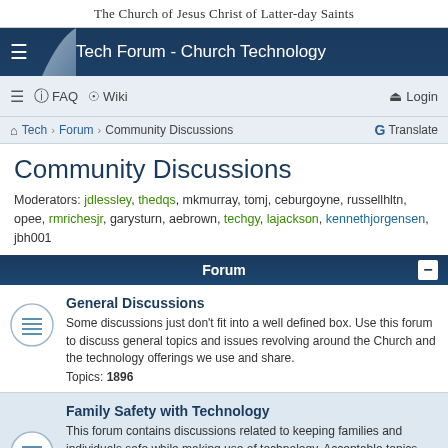The Church of Jesus Christ of Latter-day Saints
Tech Forum - Church Technology
≡  FAQ  Wiki  Login
Tech › Forum › Community Discussions  G Translate
Community Discussions
Moderators: jdlessley, thedqs, mkmurray, tomj, ceburgoyne, russellhltn, opee, rmrichesjr, garysturn, aebrown, techgy, lajackson, kennethjorgensen, jbh001
Forum
General Discussions
Some discussions just don't fit into a well defined box. Use this forum to discuss general topics and issues revolving around the Church and the technology offerings we use and share.
Topics: 1896
Family Safety with Technology
This forum contains discussions related to keeping families and individuals safe while making use of technology. Acceptable topics would range from how to protect families from Internet predators and online pornography, monitoring and protecting cell phone usage and text messaging, locking unwanted television and movies from various